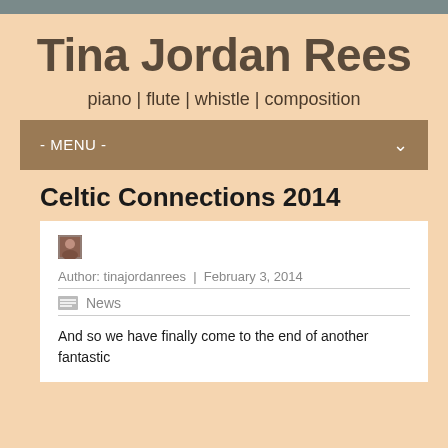Tina Jordan Rees
piano | flute | whistle | composition
- MENU -
Celtic Connections 2014
[Figure (photo): Small avatar thumbnail photo]
Author: tinajordanrees | February 3, 2014
News
And so we have finally come to the end of another fantastic